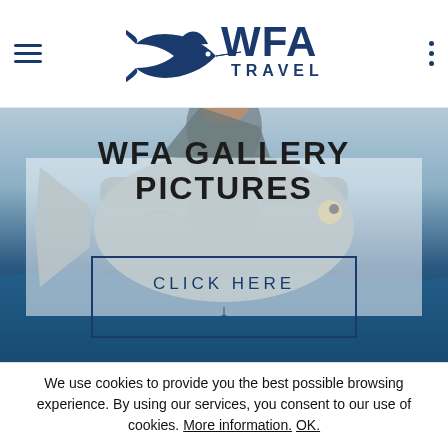WFA TRAVEL (logo with navigation hamburger menu and dots menu)
[Figure (photo): Woman in sunglasses holding a large trevally/jack fish on a boat at sea, used as hero background image for WFA Gallery Pictures page]
WFA GALLERY PICTURES
CLICK HERE
We use cookies to provide you the best possible browsing experience. By using our services, you consent to our use of cookies. More information. OK.